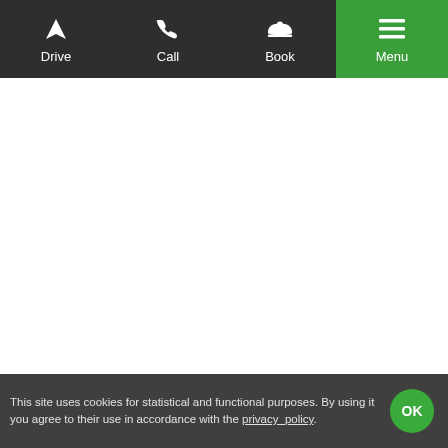[Figure (screenshot): Mobile app navigation bar with four items: Drive (navigation arrow icon), Call (phone icon), Book (cloche/dish icon), and Menu (hamburger icon, active/green background). White content area below. Cookie consent banner at the bottom with OK button.]
This site uses cookies for statistical and functional purposes. By using it you agree to their use in accordance with the privacy_policy.